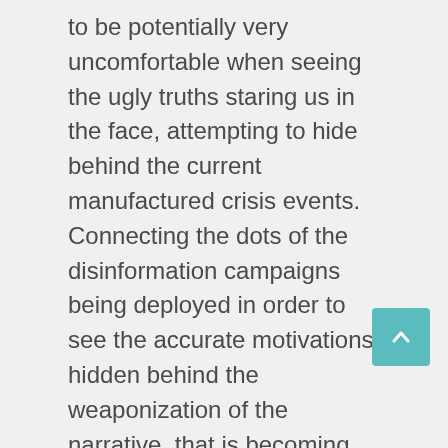to be potentially very uncomfortable when seeing the ugly truths staring us in the face, attempting to hide behind the current manufactured crisis events. Connecting the dots of the disinformation campaigns being deployed in order to see the accurate motivations hidden behind the weaponization of the narrative, that is becoming clearer in the mainstream news every day. We must also understand the roll out of the Pestilence Program as an attempt to activate a global bio-spiritual weapon, which is being used to buy more time. This is a mass distraction to veil the mobilization of covert alliances and counter for into multiple negotiations, calculated to organi another strategic effort to seize control of the planetary resources. Further, there are the wolves